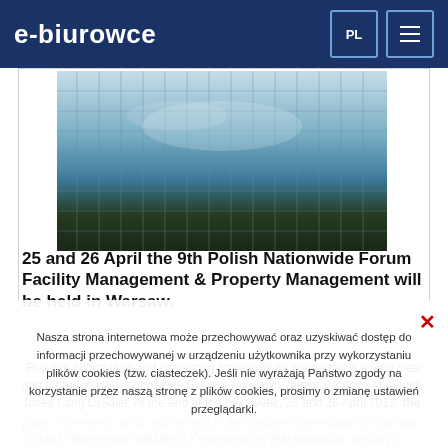e-biurowce
[Figure (photo): Upward view of modern glass office building reflecting sky and clouds]
25 and 26 April the 9th Polish Nationwide Forum Facility Management & Property Management will be held in Warsaw.
"Reliable information and interesting issues will be presented in a very clear and thorough way," comments Ewelina Augustyn, Junior Property Manager, Jones Lang LaSalle. At the end of the next week, 25 and 26 April 2013, the 9th edition of Polish Nationwide Forum Facility Management & Property Management will take place. The event, which will be held in the Novotel Hotel Airport in Warsaw, is one of the biggest meetings of specialists in the real estate industry in Poland.
The previous editions gathered the most influential opinion-
Nasza strona internetowa może przechowywać oraz uzyskiwać dostęp do informacji przechowywanej w urządzeniu użytkownika przy wykorzystaniu plików cookies (tzw. ciasteczek). Jeśli nie wyrażają Państwo zgody na korzystanie przez naszą stronę z plików cookies, prosimy o zmianę ustawień przeglądarki.